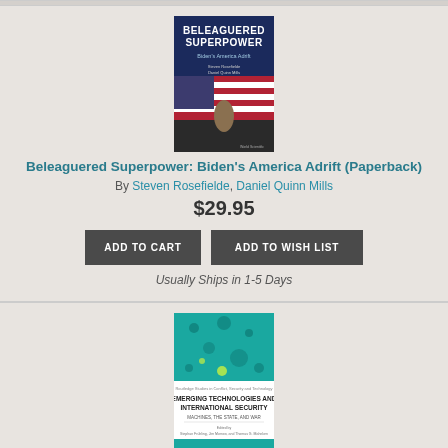[Figure (illustration): Book cover: Beleaguered Superpower: Biden's America Adrift by Steven Rosefielde and Daniel Quinn Mills. Dark blue cover with chess piece and American flag imagery, World Scientific publisher logo.]
Beleaguered Superpower: Biden's America Adrift (Paperback)
By Steven Rosefielde, Daniel Quinn Mills
$29.95
ADD TO CART
ADD TO WISH LIST
Usually Ships in 1-5 Days
[Figure (illustration): Book cover: Emerging Technologies and International Security — Machines, The State, and War. Teal cover with circular dot pattern. Routledge Studies in Conflict, Security and Technology series.]